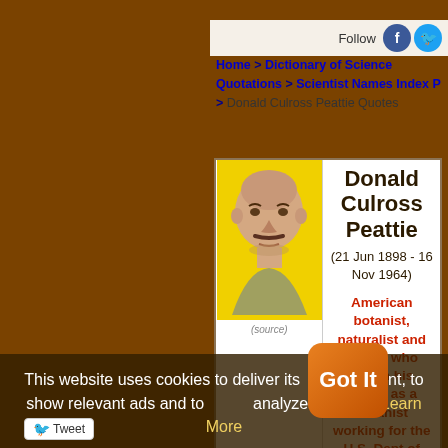Follow
Home > Dictionary of Science Quotations > Scientist Names Index P > Donald Culross Peattie Quotes
[Figure (photo): Portrait photo of Donald Culross Peattie against yellow background]
(source)
Donald Culross Peattie
(21 Jun 1898 - 16 Nov 1964)
American botanist, naturalist and author who began his career as a botanist working for the U.S. Dept of
This website uses cookies to deliver its content, to show relevant ads and to analyze its traffic. Learn More